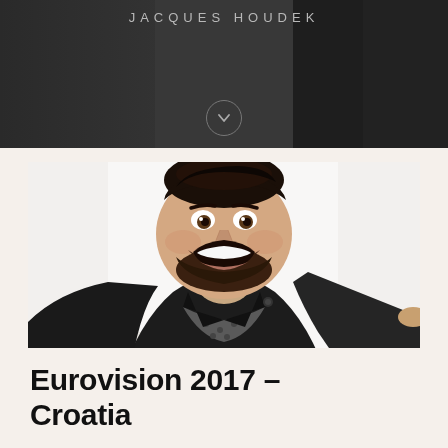JACQUES HOUDEK
[Figure (photo): Photo of a bearded man with pompadour hairstyle, wearing a black leather jacket and grey scarf, smiling widely with mouth open, taking a selfie-style photo against a white background.]
Eurovision 2017 – Croatia